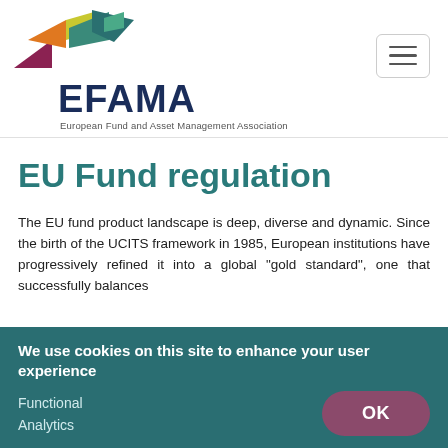[Figure (logo): EFAMA logo with colorful arrow shapes and text 'EFAMA European Fund and Asset Management Association']
EU Fund regulation
The EU fund product landscape is deep, diverse and dynamic. Since the birth of the UCITS framework in 1985, European institutions have progressively refined it into a global "gold standard", one that successfully balances
We use cookies on this site to enhance your user experience
Functional
Analytics